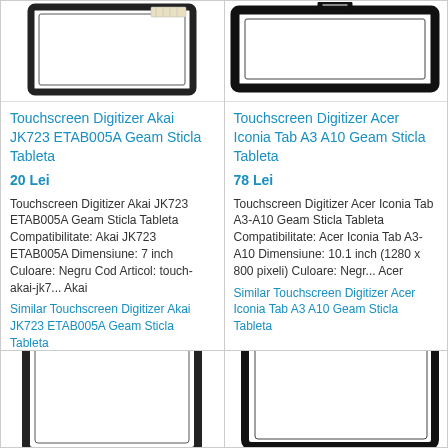[Figure (photo): Touchscreen digitizer panel for Akai tablet, black frame with corner visible]
Touchscreen Digitizer Akai JK723 ETAB005A Geam Sticla Tableta
20 Lei
Touchscreen Digitizer Akai JK723 ETAB005A Geam Sticla Tableta Compatibilitate: Akai JK723 ETAB005A Dimensiune: 7 inch Culoare: Negru Cod Articol: touch-akai-jk7... Akai
Similar Touchscreen Digitizer Akai JK723 ETAB005A Geam Sticla Tableta
[Figure (photo): Touchscreen digitizer panel for Acer Iconia Tab, black rectangular frame with mounting bracket]
Touchscreen Digitizer Acer Iconia Tab A3 A10 Geam Sticla Tableta
78 Lei
Touchscreen Digitizer Acer Iconia Tab A3-A10 Geam Sticla Tableta Compatibilitate: Acer Iconia Tab A3-A10 Dimensiune: 10.1 inch (1280 x 800 pixeli) Culoare: Negr... Acer
Similar Touchscreen Digitizer Acer Iconia Tab A3 A10 Geam Sticla Tableta
[Figure (photo): Touchscreen digitizer panel, partial view of black frame]
[Figure (photo): Touchscreen digitizer panel, partial view of black frame corner]